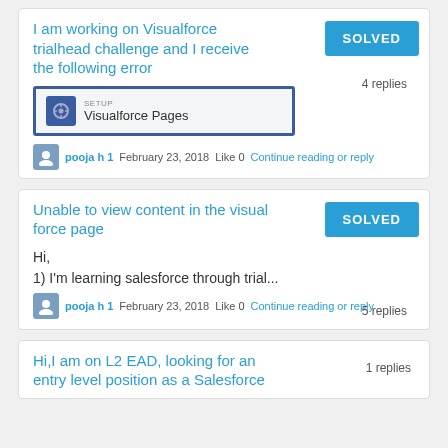I am working on Visualforce trialhead challenge and I receive the following error
SOLVED
4 replies
[Figure (screenshot): Screenshot of Salesforce Setup showing Visualforce Pages option with gear icon]
pooja h 1  February 23, 2018  Like 0  Continue reading or reply
Unable to view content in the visual force page
SOLVED
5 replies
Hi,
1) I'm learning salesforce through trial...
pooja h 1  February 23, 2018  Like 0  Continue reading or reply
Hi,I am on L2 EAD, looking for an entry level position as a Salesforce
1 replies